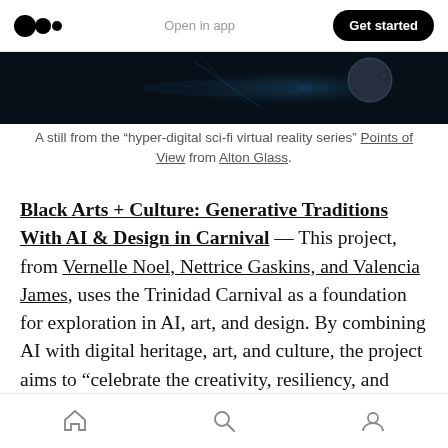Open in app | Get started
[Figure (photo): A dark sci-fi themed image still, showing a planet or celestial body against a dark background.]
A still from the “hyper-digital sci-fi virtual reality series” Points of View from Alton Glass.
Black Arts + Culture: Generative Traditions With AI & Design in Carnival — This project, from Vernelle Noel, Nettrice Gaskins, and Valencia James, uses the Trinidad Carnival as a foundation for exploration in AI, art, and design. By combining AI with digital heritage, art, and culture, the project aims to “celebrate the creativity, resiliency, and vibrancy of Black and Caribbean histories and cultures.”
Home | Search | Profile